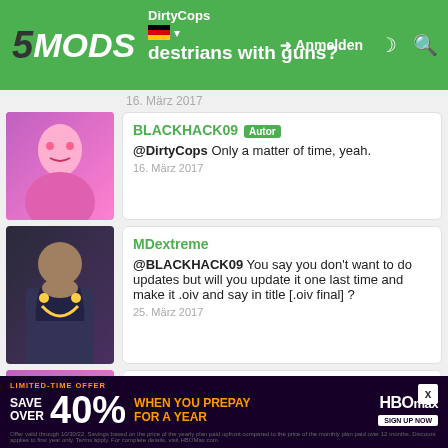5MODS | DirtyCops - pedestrians with guns? | Anmelden
16. März 2017
BLACKHACK09 Autor
@DirtyCops Only a matter of time, yeah.
16. März 2017
MDextreme
@BLACKHACK09 You say you don't want to do updates but will you update it one last time and make it .oiv and say in title [.oiv final] ?
25. März 2017
BLACKHACK09 Autor
@MDextreme I never said i wasn't going to update this again, that was towards someone elses mod. Oiv will be added eventually.
[Figure (infographic): HBO Max advertisement: Save over 40% when you prepay for a year. Limited-time offer. Sign up now.]